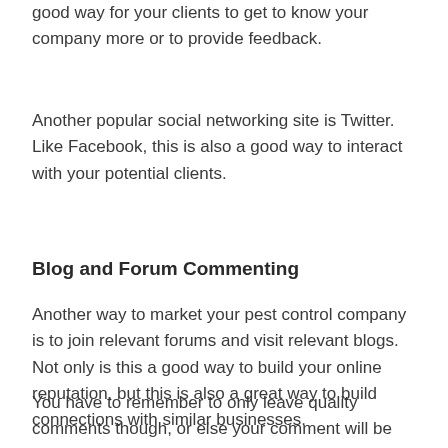good way for your clients to get to know your company more or to provide feedback.
Another popular social networking site is Twitter. Like Facebook, this is also a good way to interact with your potential clients.
Blog and Forum Commenting
Another way to market your pest control company is to join relevant forums and visit relevant blogs. Not only is this a good way to build your online reputation, but this is also a great way to build connections with similar businesses.
You have to remember to only leave quality comments though, or else your comment will be marked as spam and deleted by the blog owner or forum moderator.